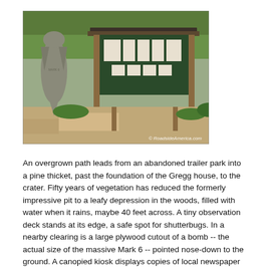[Figure (photo): Outdoor photo showing a large plywood bomb-shaped cutout silhouette on the left and a canopied kiosk with posted papers on the right, set in a forested area with sandy ground. Watermark reads '© RoadsideAmerica.com'.]
An overgrown path leads from an abandoned trailer park into a pine thicket, past the foundation of the Gregg house, to the crater. Fifty years of vegetation has reduced the formerly impressive pit to a leafy depression in the woods, filled with water when it rains, maybe 40 feet across. A tiny observation deck stands at its edge, a safe spot for shutterbugs. In a nearby clearing is a large plywood cutout of a bomb -- the actual size of the massive Mark 6 -- pointed nose-down to the ground. A canopied kiosk displays copies of local newspaper stories from 1958.